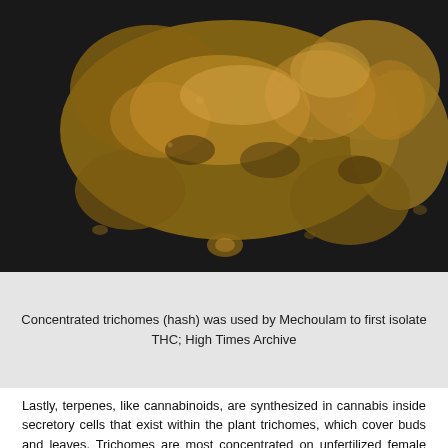[Figure (photo): Close-up photograph of concentrated trichomes (hash) — golden-brown crumbly substance against a black background]
Concentrated trichomes (hash) was used by Mechoulam to first isolate THC; High Times Archive
Lastly, terpenes, like cannabinoids, are synthesized in cannabis inside secretory cells that exist within the plant trichomes, which cover buds and leaves. Trichomes are most concentrated on unfertilized female flowers during peak flowering—usually around the six- or seven-week mark, just as trichomes begin to turn amber in color. Being created within the same physiological structure is important because it shows us that both cannabinoids and